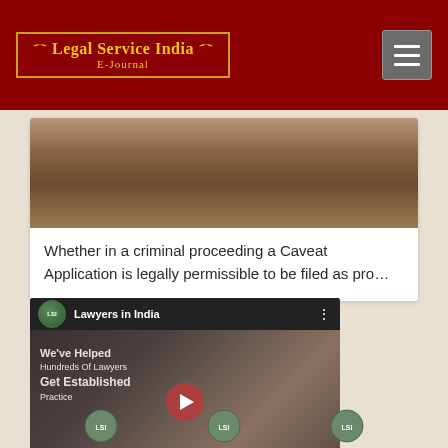Legal Service India E-Journal
[Figure (screenshot): Article thumbnail image showing a dark brown book or document on a wooden surface]
Whether in a criminal proceeding a Caveat Application is legally permissible to be filed as pro…
[Figure (screenshot): YouTube video embed showing 'Lawyers in India' channel video titled 'We've Helped Hundreds Of Lawyers Get Established Practice' with a play button]
[Figure (logo): Bottom section with small logo icons]